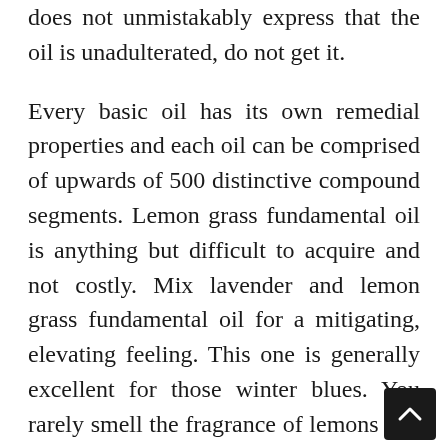does not unmistakably express that the oil is unadulterated, do not get it.
Every basic oil has its own remedial properties and each oil can be comprised of upwards of 500 distinctive compound segments. Lemon grass fundamental oil is anything but difficult to acquire and not costly. Mix lavender and lemon grass fundamental oil for a mitigating, elevating feeling. This one is generally excellent for those winter blues. You rarely smell the fragrance of lemons and not grin. Phenols, alcohols, esters, ketones, aldehydes and terrenes normally delivered synthetics like these can be replicated falsely however the duplicates do not appear to have the very same